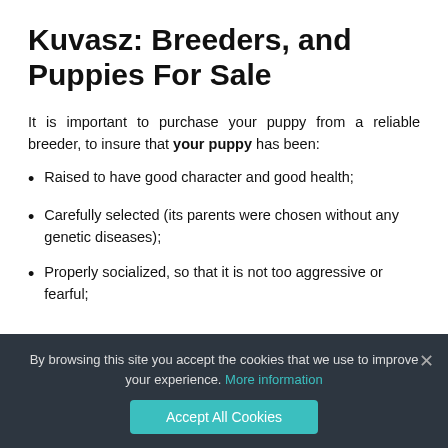Kuvasz: Breeders, and Puppies For Sale
It is important to purchase your puppy from a reliable breeder, to insure that your puppy has been:
Raised to have good character and good health;
Carefully selected (its parents were chosen without any genetic diseases);
Properly socialized, so that it is not too aggressive or fearful;
By browsing this site you accept the cookies that we use to improve your experience. More information
Accept All Cookies